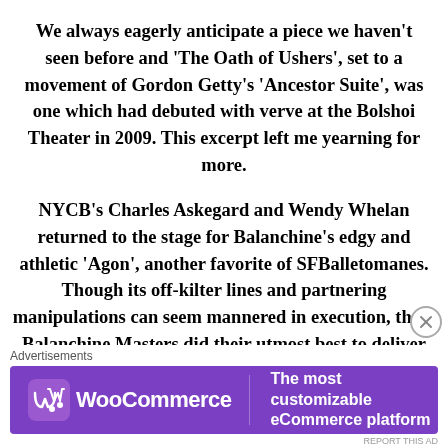We always eagerly anticipate a piece we haven’t seen before and ‘The Oath of Ushers’, set to a movement of Gordon Getty’s ‘Ancestor Suite’, was one which had debuted with verve at the Bolshoi Theater in 2009. This excerpt left me yearning for more.
NYCB’s Charles Askegard and Wendy Whelan returned to the stage for Balanchine’s edgy and athletic ‘Agon’, another favorite of SFBalletomanes. Though its off-kilter lines and partnering manipulations can seem mannered in execution, these Balanchine Masters did their utmost best to deliver unfettered pure Balanchine-Dance for Dance’s sake-to
Advertisements
[Figure (other): WooCommerce advertisement banner with purple background. Logo on left with shopping bag icon and 'WooCommerce' text. Tagline on right: 'The most customizable eCommerce platform'.]